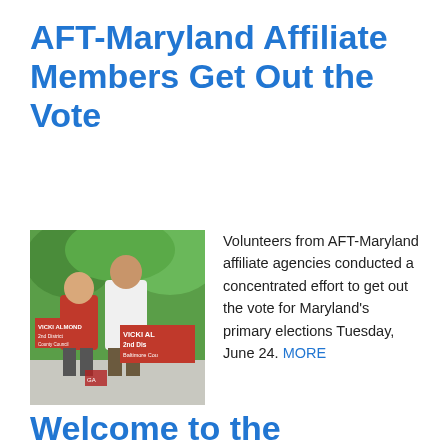AFT-Maryland Affiliate Members Get Out the Vote
[Figure (photo): Two people wearing red 'Vicki Almond' campaign t-shirts standing outdoors near campaign signs. One sign reads 'VICKI ALMOND 2nd District Baltimore County'. Green trees visible in background.]
Volunteers from AFT-Maryland affiliate agencies conducted a concentrated effort to get out the vote for Maryland's primary elections Tuesday, June 24. MORE
Welcome to the